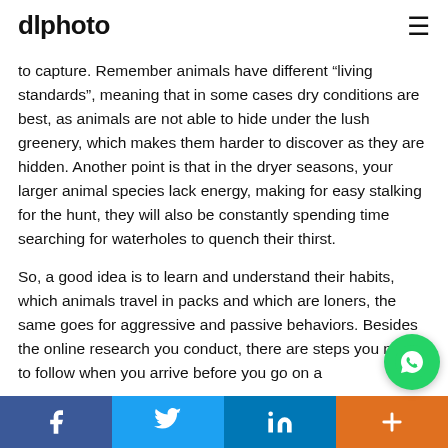dlphoto
to capture. Remember animals have different “living standards”, meaning that in some cases dry conditions are best, as animals are not able to hide under the lush greenery, which makes them harder to discover as they are hidden. Another point is that in the dryer seasons, your larger animal species lack energy, making for easy stalking for the hunt, they will also be constantly spending time searching for waterholes to quench their thirst.
So, a good idea is to learn and understand their habits, which animals travel in packs and which are loners, the same goes for aggressive and passive behaviors. Besides the online research you conduct, there are steps you need to follow when you arrive before you go on a
[Figure (logo): WhatsApp contact button (green circular icon with phone handset)]
Social share bar: Facebook, Twitter, LinkedIn, Plus